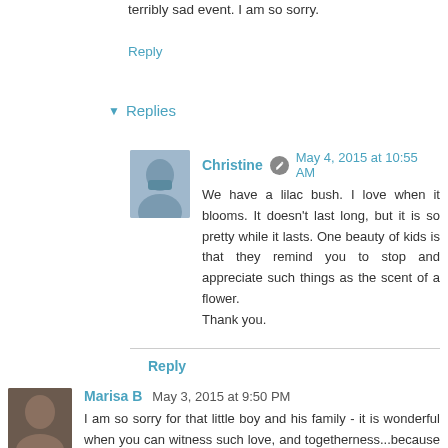terribly sad event. I am so sorry.
Reply
Replies
Christine  May 4, 2015 at 10:55 AM
We have a lilac bush. I love when it blooms. It doesn't last long, but it is so pretty while it lasts. One beauty of kids is that they remind you to stop and appreciate such things as the scent of a flower.
Thank you.
Reply
Marisa B  May 3, 2015 at 9:50 PM
I am so sorry for that little boy and his family - it is wonderful when you can witness such love, and togetherness...because of a common bond everyone was able to come forth and aide toward bringing peace, healing